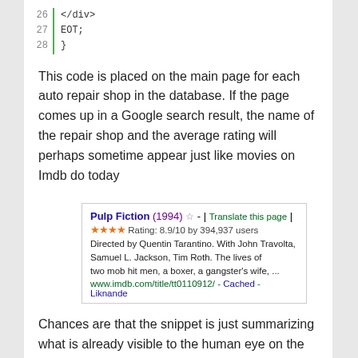26  </div>
27  EOT;
28  }
This code is placed on the main page for each auto repair shop in the database. If the page comes up in a Google search result, the name of the repair shop and the average rating will perhaps sometime appear just like movies on Imdb do today
[Figure (screenshot): Google search result snippet for Pulp Fiction (1994) showing star rating 8.9/10 by 394,937 users, directed by Quentin Tarantino, with imdb URL]
Chances are that the snippet is just summarizing what is already visible to the human eye on the page. To avoid this redundancy, it is perfectly legal to hide the snippet. This is what I have done in the example above by giving the div surrounding the snippet a “display: none” style.
Rich Snippets Testing Tool